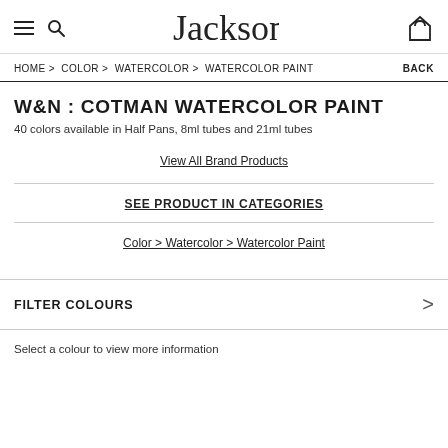Jackson's
HOME > COLOR > WATERCOLOR > WATERCOLOR PAINT   BACK
W&N : COTMAN WATERCOLOR PAINT
40 colors available in Half Pans, 8ml tubes and 21ml tubes
View All Brand Products
SEE PRODUCT IN CATEGORIES
Color > Watercolor > Watercolor Paint
FILTER COLOURS
Select a colour to view more information